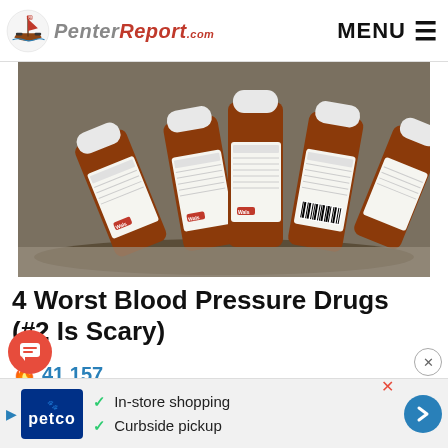PenterReport.com | MENU
[Figure (photo): Five orange prescription pill bottles with white caps and Walgreens pharmacy labels lying on a gray surface, viewed from above at an angle]
4 Worst Blood Pressure Drugs (#2 Is Scary)
🔥 41,157
[Figure (photo): Partial image of a second article below, showing number 10 badge and a person's head]
[Figure (infographic): Advertisement banner: Petco logo with checkmarks for 'In-store shopping' and 'Curbside pickup']